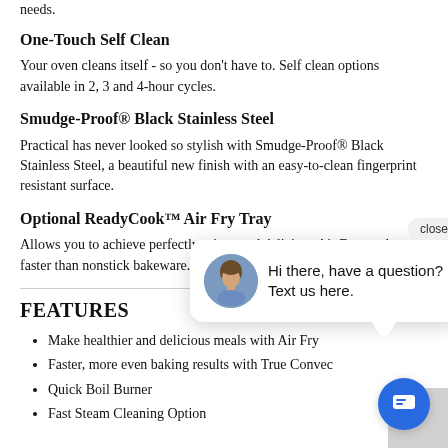needs.
One-Touch Self Clean
Your oven cleans itself - so you don't have to. Self clean options available in 2, 3 and 4-hour cycles.
Smudge-Proof® Black Stainless Steel
Practical has never looked so stylish with Smudge-Proof® Black Stainless Steel, a beautiful new finish with an easy-to-clean fingerprint resistant surface.
Optional ReadyCook™ Air Fry Tray
Allows you to achieve perfectly crispy and delicious Air Fry results, faster than nonstick bakeware. * ReadyCook™ Air Fry Tray is not requ...
FEATURES
Make healthier and delicious meals with Air Fry
Faster, more even baking results with True Convec...
Quick Boil Burner
Fast Steam Cleaning Option